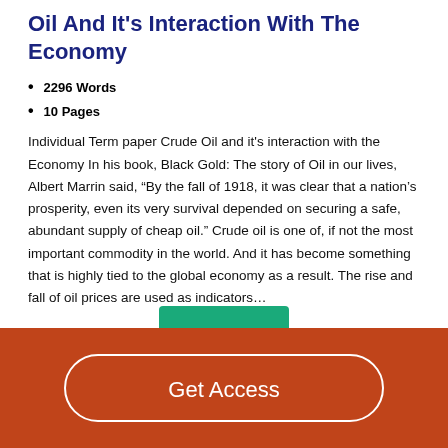Oil And It's Interaction With The Economy
2296 Words
10 Pages
Individual Term paper Crude Oil and it's interaction with the Economy In his book, Black Gold: The story of Oil in our lives, Albert Marrin said, “By the fall of 1918, it was clear that a nation’s prosperity, even its very survival depended on securing a safe, abundant supply of cheap oil.” Crude oil is one of, if not the most important commodity in the world. And it has become something that is highly tied to the global economy as a result. The rise and fall of oil prices are used as indicators…
[Figure (other): Partial green button visible at bottom of content area]
Get Access